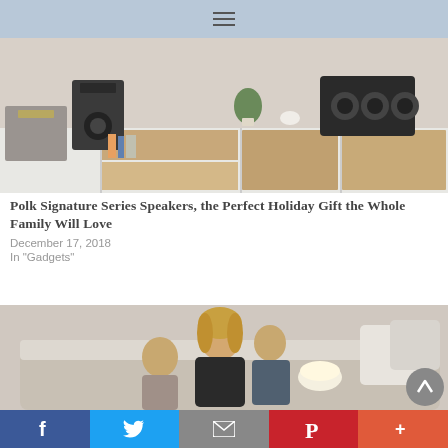≡
[Figure (photo): Photo of speakers and audio equipment on a modern white media console with wood shelving in a living room]
Polk Signature Series Speakers, the Perfect Holiday Gift the Whole Family Will Love
December 17, 2018
In "Gadgets"
[Figure (photo): Photo of a mother and two children snuggling on a couch, watching something together]
f  Twitter  Email  Pinterest  +